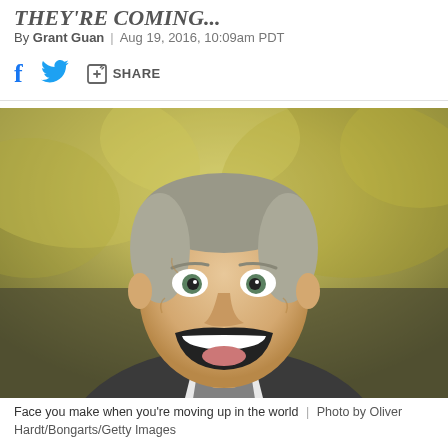THEY'RE COMING...
By Grant Guan | Aug 19, 2016, 10:09am PDT
[Figure (photo): Man laughing exuberantly outdoors with blurred yellow-green foliage background, wearing dark blazer and white shirt]
Face you make when you're moving up in the world | Photo by Oliver Hardt/Bongarts/Getty Images